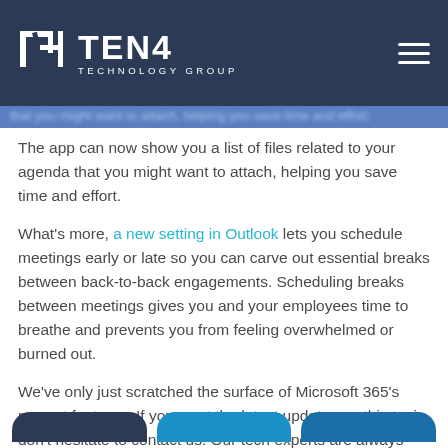TEN4 TECHNOLOGY GROUP
The app can now show you a list of files related to your agenda that you might want to attach, helping you save time and effort.
What's more, a new setting in Outlook lets you schedule meetings early or late so you can carve out essential breaks between back-to-back engagements. Scheduling breaks between meetings gives you and your employees time to breathe and prevents you from feeling overwhelmed or burned out.
We've only just scratched the surface of Microsoft 365's newest features. If you want the latest updates on this topic, don't hesitate to contact us. Our tech experts are always ready to answer your queries.